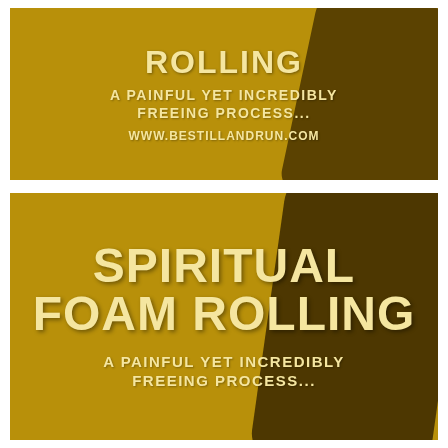[Figure (infographic): Top panel with golden/olive background and dark diagonal foam roller shape. Text reads 'ROLLING' as title, 'A PAINFUL YET INCREDIBLY FREEING PROCESS...' as subtitle, and 'WWW.BESTILLANDRUN.COM' as URL.]
[Figure (infographic): Bottom panel with golden/olive background and dark diagonal foam roller shape. Text reads 'SPIRITUAL FOAM ROLLING' as large title, and 'A PAINFUL YET INCREDIBLY FREEING PROCESS...' as subtitle.]